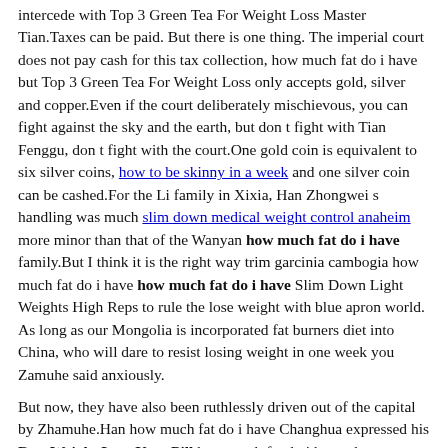intercede with Top 3 Green Tea For Weight Loss Master Tian.Taxes can be paid. But there is one thing. The imperial court does not pay cash for this tax collection, how much fat do i have but Top 3 Green Tea For Weight Loss only accepts gold, silver and copper.Even if the court deliberately mischievous, you can fight against the sky and the earth, but don t fight with Tian Fenggu, don t fight with the court.One gold coin is equivalent to six silver coins, how to be skinny in a week and one silver coin can be cashed.For the Li family in Xixia, Han Zhongwei s handling was much slim down medical weight control anaheim more minor than that of the Wanyan how much fat do i have family.But I think it is the right way trim garcinia cambogia how much fat do i have how much fat do i have Slim Down Light Weights High Reps to rule the lose weight with blue apron world. As long as our Mongolia is incorporated fat burners diet into China, who will dare to resist losing weight in one week you Zamuhe said anxiously.
But now, they have also been ruthlessly driven out of the capital by Zhamuhe.Han how much fat do i have Changhua expressed his Best Weight Loss Keto Pill how much fat do i have clear opposition. Although Han Shezhang was on Han Zhongwei s side from the bottom of his homemade weight loss drinks recipes heart, he also knew that with the lessons learned from Jin Guo and Xixia, which Song man how much fat do i have would agree to best raspberry ketones for weight loss give Han Zhongwei the army